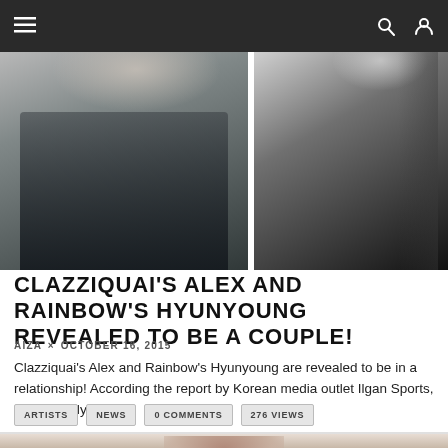Navigation bar with menu, search, and user icons
[Figure (photo): Two side-by-side celebrity photos separated by a white divider: left shows a man in dark v-neck shirt against grey background, right shows a woman in black outfit against grey background]
CLAZZIQUAI'S ALEX AND RAINBOW'S HYUNYOUNG REVEALED TO BE A COUPLE!
AIZA × OCTOBER 16, 2015
Clazziquai's Alex and Rainbow's Hyunyoung are revealed to be in a relationship! According the report by Korean media outlet Ilgan Sports, Alex and Hyunyo…
ARTISTS   NEWS   0 COMMENTS   276 VIEWS
[Figure (photo): Partial photo of a person with brown hair visible at the bottom of the page]